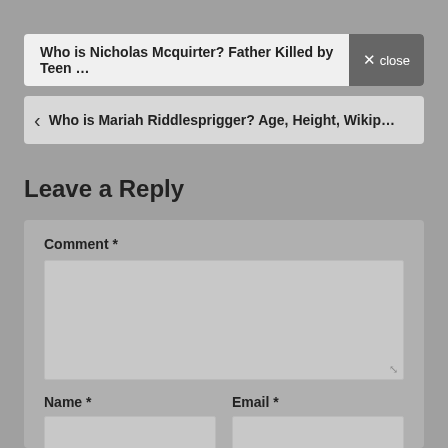Who is Nicholas Mcquirter? Father Killed by Teen …
Who is Mariah Riddlesprigger? Age, Height, Wikip…
Leave a Reply
Comment *
Name *
Email *
Website